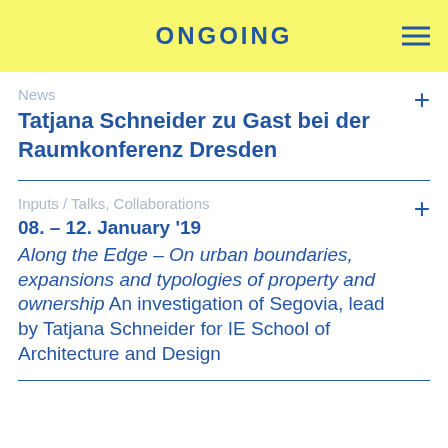ONGOING
News
Tatjana Schneider zu Gast bei der Raumkonferenz Dresden
Inputs / Talks, Collaborations
08. – 12. January '19
Along the Edge – On urban boundaries, expansions and typologies of property and ownership An investigation of Segovia, lead by Tatjana Schneider for IE School of Architecture and Design